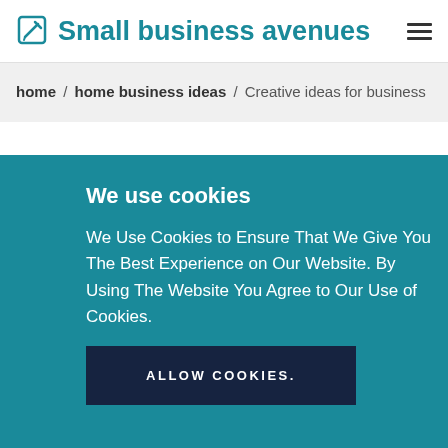Small business avenues
home / home business ideas / Creative ideas for business
We use cookies
We Use Cookies to Ensure That We Give You The Best Experience on Our Website. By Using The Website You Agree to Our Use of Cookies.
ALLOW COOKIES.